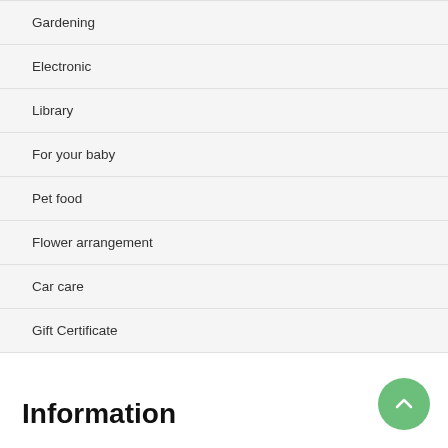Gardening
Electronic
Library
For your baby
Pet food
Flower arrangement
Car care
Gift Certificate
Information